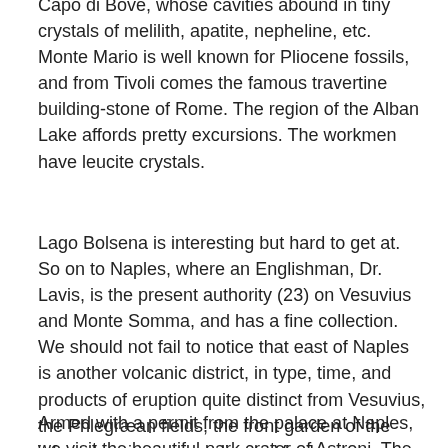Capo di Bove, whose cavities abound in tiny crystals of melilith, apatite, nepheline, etc. Monte Mario is well known for Pliocene fossils, and from Tivoli comes the famous travertine building-stone of Rome. The region of the Alban Lake affords pretty excursions. The workmen have leucite crystals.
Lago Bolsena is interesting but hard to get at. So on to Naples, where an Englishman, Dr. Lavis, is the present authority (23) on Vesuvius and Monte Somma, and has a fine collection. We should not fail to notice that east of Naples is another volcanic district, in type, time, and products of eruption quite distinct from Vesuvius, the Phlegræan fields, the front garden of the infernal regions, according to Virgil.
Armed with a permit from the palace at Naples, we visit the beautiful park crater of Astroni. The way leads past the